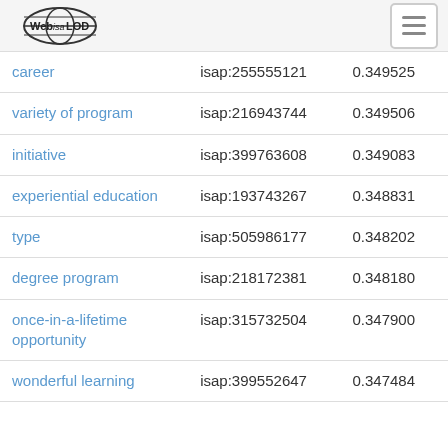[Figure (logo): Web isa LOD globe logo]
| career | isap:255555121 | 0.349525 |
| variety of program | isap:216943744 | 0.349506 |
| initiative | isap:399763608 | 0.349083 |
| experiential education | isap:193743267 | 0.348831 |
| type | isap:505986177 | 0.348202 |
| degree program | isap:218172381 | 0.348180 |
| once-in-a-lifetime opportunity | isap:315732504 | 0.347900 |
| wonderful learning | isap:399552647 | 0.347484 |